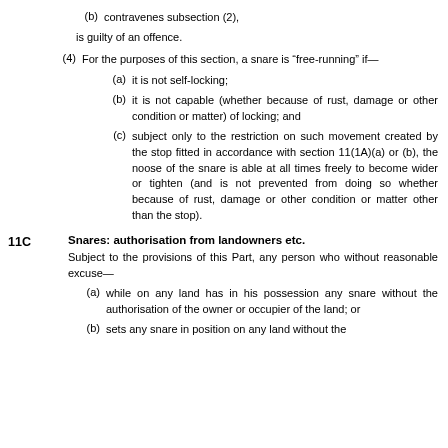(b)  contravenes subsection (2),
is guilty of an offence.
(4)  For the purposes of this section, a snare is “free-running” if—
(a)  it is not self-locking;
(b)  it is not capable (whether because of rust, damage or other condition or matter) of locking; and
(c)  subject only to the restriction on such movement created by the stop fitted in accordance with section 11(1A)(a) or (b), the noose of the snare is able at all times freely to become wider or tighten (and is not prevented from doing so whether because of rust, damage or other condition or matter other than the stop).
11C   Snares: authorisation from landowners etc.
Subject to the provisions of this Part, any person who without reasonable excuse—
(a)  while on any land has in his possession any snare without the authorisation of the owner or occupier of the land; or
(b)  sets any snare in position on any land without the